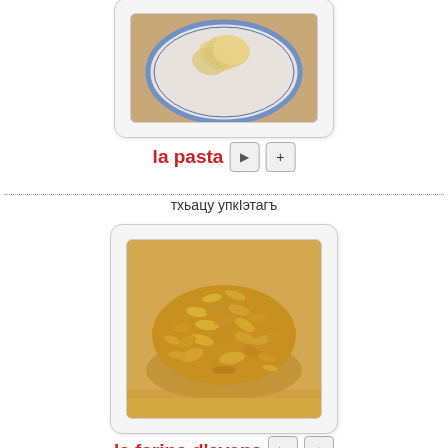[Figure (photo): Partial view of a plate with pasta, shown in a rounded card frame]
la pasta
тхьацу упкІэтагъ
[Figure (photo): A pile of rolled oats on a wooden surface, shown in a rounded card frame]
la farina d'avena